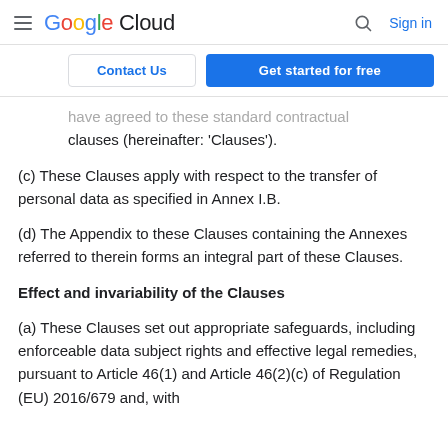Google Cloud  Sign in
[Figure (screenshot): Contact Us and Get started for free buttons]
have agreed to these standard contractual clauses (hereinafter: 'Clauses').
(c) These Clauses apply with respect to the transfer of personal data as specified in Annex I.B.
(d) The Appendix to these Clauses containing the Annexes referred to therein forms an integral part of these Clauses.
Effect and invariability of the Clauses
(a) These Clauses set out appropriate safeguards, including enforceable data subject rights and effective legal remedies, pursuant to Article 46(1) and Article 46(2)(c) of Regulation (EU) 2016/679 and, with